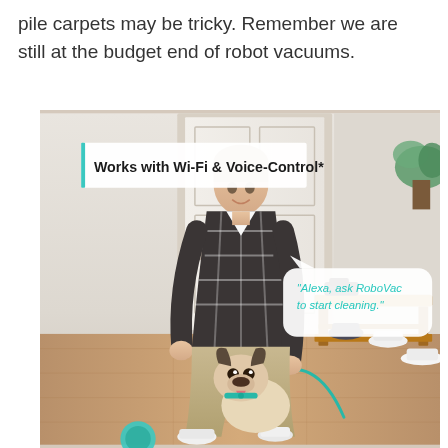pile carpets may be tricky. Remember we are still at the budget end of robot vacuums.
[Figure (photo): Product lifestyle photo showing a man in a plaid shirt crouching down to pet a French bulldog on a leash, inside a home entryway with a wooden shoe bench and shoes visible. A Wi-Fi banner overlay reads 'Works with Wi-Fi & Voice-Control*' and a speech bubble reads '"Alexa, ask RoboVac to start cleaning."']